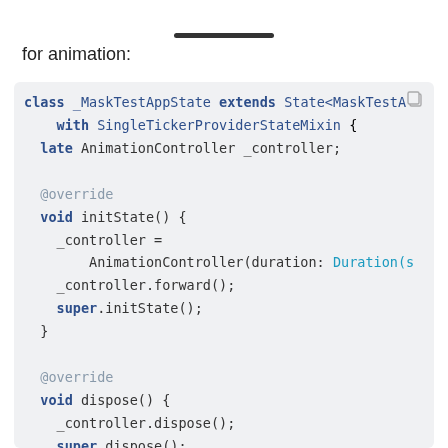[Figure (screenshot): Top of page showing scroll indicator bar at bottom of a mobile screenshot]
for animation:
class _MaskTestAppState extends State<MaskTestApp>
    with SingleTickerProviderStateMixin {
  late AnimationController _controller;

  @override
  void initState() {
    _controller =
        AnimationController(duration: Duration(s
    _controller.forward();
    super.initState();
  }

  @override
  void dispose() {
    _controller.dispose();
    super.dispose();
  }

  @override
  Widget build(BuildContext context) {
    return Scaffold(